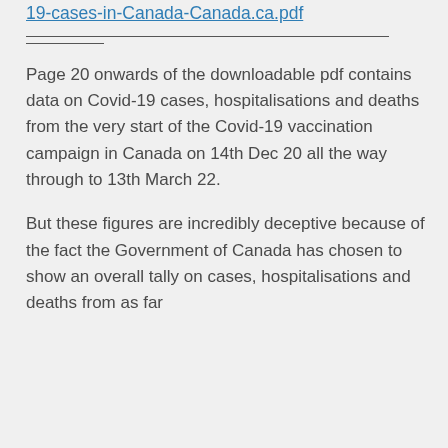19-cases-in-Canada-Canada.ca.pdf
Page 20 onwards of the downloadable pdf contains data on Covid-19 cases, hospitalisations and deaths from the very start of the Covid-19 vaccination campaign in Canada on 14th Dec 20 all the way through to 13th March 22.
But these figures are incredibly deceptive because of the fact the Government of Canada has chosen to show an overall tally on cases, hospitalisations and deaths from as far